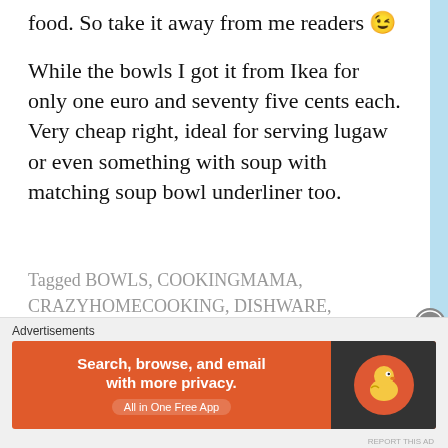food. So take it away from me readers 😉
While the bowls I got it from Ikea for only one euro and seventy five cents each. Very cheap right, ideal for serving lugaw or even something with soup with matching soup bowl underliner too.
Tagged BOWLS, COOKINGMAMA, CRAZYHOMECOOKING, DISHWARE, DOLLY'S KITCHEN AT 10th DISTRICT, DOLLYKITCHEN, DORLLYMULTIPLY, HOMECOOKING, IKEA, IKEAÖSTERREICH, KITCHENSTUFF, KITCHENSTUFFPLUS, KITCHENWARE,
Advertisements
[Figure (screenshot): DuckDuckGo advertisement banner: orange background with text 'Search, browse, and email with more privacy. All in One Free App' and DuckDuckGo logo on dark right panel]